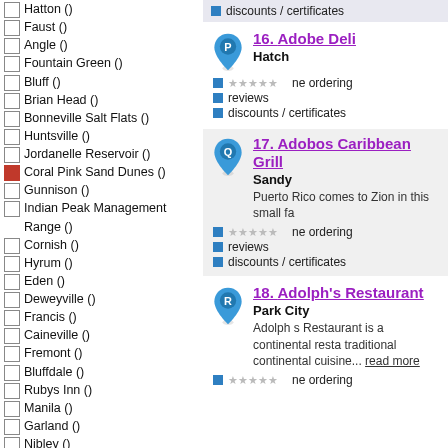Hatton ()
Faust ()
Angle ()
Fountain Green ()
Bluff ()
Brian Head ()
Bonneville Salt Flats ()
Huntsville ()
Jordanelle Reservoir ()
Coral Pink Sand Dunes ()
Gunnison ()
Indian Peak Management Range ()
Cornish ()
Hyrum ()
Eden ()
Deweyville ()
Francis ()
Caineville ()
Fremont ()
Bluffdale ()
Rubys Inn ()
Manila ()
Garland ()
Nibley ()
Myton ()
Dead Horse Point State Park ()
Rockville ()
Boulder ()
Bridgeland ()
Stoddard ()
Clinton ()
discounts / certificates
16. Adobe Deli
Hatch
phone ordering
reviews
discounts / certificates
17. Adobos Caribbean Grill
Sandy
Puerto Rico comes to Zion in this small fa
phone ordering
reviews
discounts / certificates
18. Adolph's Restaurant
Park City
Adolph s Restaurant is a continental resta traditional continental cuisine... read more
phone ordering